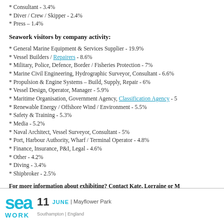* Consultant - 3.4%
* Diver / Crew / Skipper - 2.4%
* Press – 1.4%
Seawork visitors by company activity:
* General Marine Equipment & Services Supplier - 19.9%
* Vessel Builders / Repairers - 8.6%
* Military, Police, Defence, Border / Fisheries Protection - 7%
* Marine Civil Engineering, Hydrographic Surveyor, Consultant - 6.6%
* Propulsion & Engine Systems – Build, Supply, Repair - 6%
* Vessel Design, Operator, Manager - 5.9%
* Maritime Organisation, Government Agency, Classification Agency - 5
* Renewable Energy / Offshore Wind / Environment - 5.5%
* Safety & Training - 5.3%
* Media - 5.2%
* Naval Architect, Vessel Surveyor, Consultant - 5%
* Port, Harbour Authority, Wharf / Terminal Operator - 4.8%
* Finance, Insurance, P&I, Legal - 4.6%
* Other - 4.2%
* Diving - 3.4%
* Shipbroker - 2.5%
For more information about exhibiting? Contact Kate, Lorraine or M
sea WORK  11 JUNE | Mayflower Park